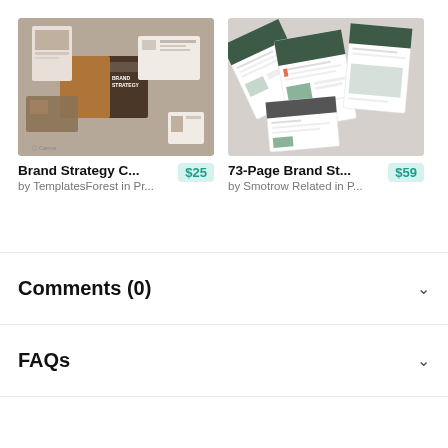[Figure (screenshot): Thumbnail of Brand Strategy Canva template showing multiple presentation slides with a person wearing a hat, neutral/earth tones]
Brand Strategy C... $25
by TemplatesForest in Pr...
[Figure (screenshot): Thumbnail of 73-Page Brand Strategy template showing multiple document pages angled, green and white color scheme]
73-Page Brand St... $59
by Smotrow Related in P...
Comments (0)
FAQs